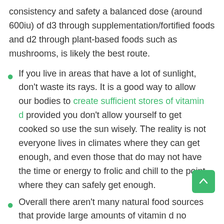consistency and safety a balanced dose (around 600iu) of d3 through supplementation/fortified foods and d2 through plant-based foods such as mushrooms, is likely the best route.
If you live in areas that have a lot of sunlight, don't waste its rays. It is a good way to allow our bodies to create sufficient stores of vitamin d provided you don't allow yourself to get cooked so use the sun wisely. The reality is not everyone lives in climates where they can get enough, and even those that do may not have the time or energy to frolic and chill to the point where they can safely get enough.
Overall there aren't many natural food sources that provide large amounts of vitamin d no matter your diet.
The highest vitamin d3 content for vegans is